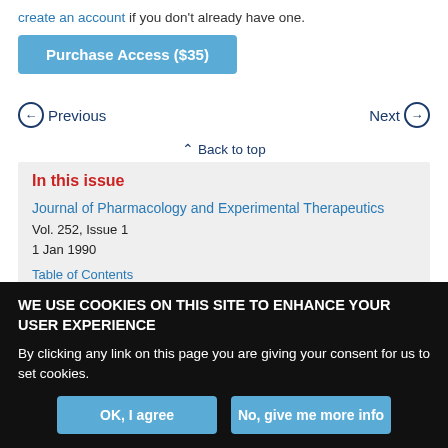create an account if you don't already have one.
Purchase Access ($35)
Previous
Next
Back to top
In this issue
Journal of Pharmacology and Experimental Therapeutics
Vol. 252, Issue 1
1 Jan 1990
Table of Contents
Index by author
Back Matter (PDF)
WE USE COOKIES ON THIS SITE TO ENHANCE YOUR USER EXPERIENCE
By clicking any link on this page you are giving your consent for us to set cookies.
OK, I agree
No, give me more info